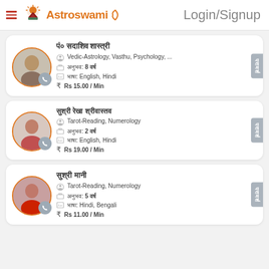Login/Signup
[Figure (logo): Astroswami logo with sun/mountain icon and crescent moon symbol]
पं० सदाशिव शास्त्री — Vedic-Astrology, Vasthu, Psychology, ... — अनुभव: 8 वर्ष — भाषा: English, Hindi — Rs 15.00 / Min
सुश्री रेखा श्रीवास्तव — Tarot-Reading, Numerology — अनुभव: 2 वर्ष — भाषा: English, Hindi — Rs 19.00 / Min
सुश्री मानी — Tarot-Reading, Numerology — अनुभव: 5 वर्ष — भाषा: Hindi, Bengali — Rs 11.00 / Min